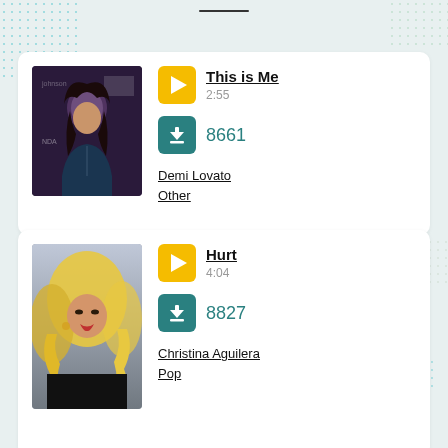[Figure (screenshot): Music app listing card for 'This is Me' by Demi Lovato. Shows artist photo (Demi Lovato), play button with song title 'This is Me' and duration 2:55, download button with count 8661, artist name 'Demi Lovato', genre 'Other'.]
[Figure (screenshot): Music app listing card for 'Hurt' by Christina Aguilera. Shows artist photo (Christina Aguilera), play button with song title 'Hurt' and duration 4:04, download button with count 8827, artist name 'Christina Aguilera', genre 'Pop'.]